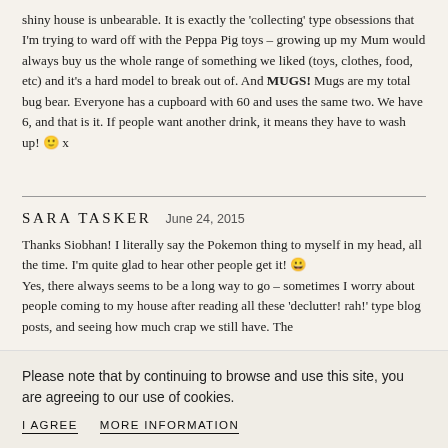shiny house is unbearable. It is exactly the 'collecting' type obsessions that I'm trying to ward off with the Peppa Pig toys – growing up my Mum would always buy us the whole range of something we liked (toys, clothes, food, etc) and it's a hard model to break out of. And MUGS! Mugs are my total bug bear. Everyone has a cupboard with 60 and uses the same two. We have 6, and that is it. If people want another drink, it means they have to wash up! 🙂 x
SARA TASKER   June 24, 2015
Thanks Siobhan! I literally say the Pokemon thing to myself in my head, all the time. I'm quite glad to hear other people get it! 😀 Yes, there always seems to be a long way to go – sometimes I worry about people coming to my house after reading all these 'declutter! rah!' type blog posts, and seeing how much crap we still have. The
Please note that by continuing to browse and use this site, you are agreeing to our use of cookies.
I AGREE   MORE INFORMATION